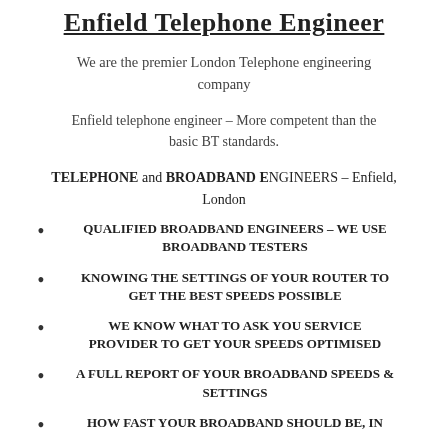Enfield Telephone Engineer
We are the premier London Telephone engineering company
Enfield telephone engineer – More competent than the basic BT standards.
TELEPHONE and BROADBAND ENGINEERS – Enfield, London
QUALIFIED BROADBAND ENGINEERS – WE USE BROADBAND TESTERS
KNOWING THE SETTINGS OF YOUR ROUTER TO GET THE BEST SPEEDS POSSIBLE
WE KNOW WHAT TO ASK YOU SERVICE PROVIDER TO GET YOUR SPEEDS OPTIMISED
A FULL REPORT OF YOUR BROADBAND SPEEDS & SETTINGS
HOW FAST YOUR BROADBAND SHOULD BE, IN